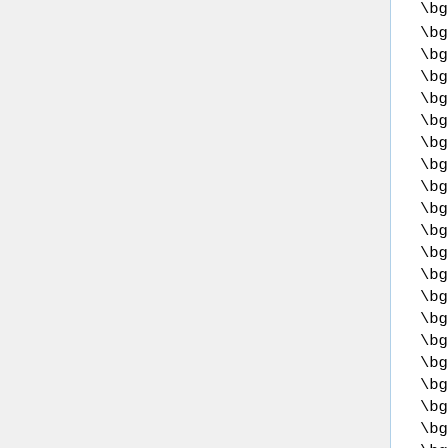\bguccinecklace\.com\b
\bguccing\.com\b
\bguccionlinemall\.com\b
\bguccionlinesale\.com\b
\bguccionlineshop\.org\b
\bguccioutletuk\.com\b
\bguccioutletusa\.com\b
\bguccipick\.com\b
\bguccis\.net\b
\bguccisale\.org\b
\bguccisaleonline\.com\b
\bguccisbags\.com\b
\bguccishoes-guccibags\.com\b
\bguccishoesbag\.com\b
\bguccishoesdiscount\.com\b
\bguccishoponline\.net\b
\bguccisneakersonsale\.com\b
\bguccisneakersuk\.com\b
\bguccitouch\.com\b
\bgucciusaoutlet\.com\b
\bgucciweb\.com\b
\bjpgucci\.com\b
\bluxuryguccishoes\.com\b
\bmygucciestores\.com\b